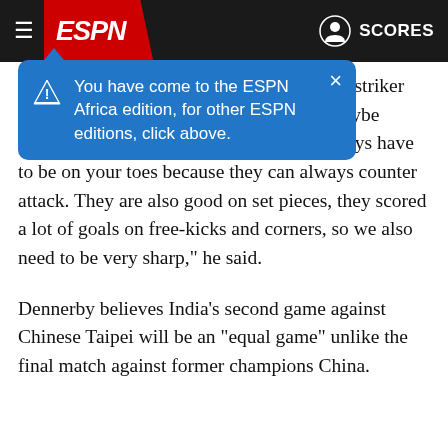ESPN
[Figure (screenshot): ESPN Africa edition notification popup with blue background and warning icon, text: You have come to the ESPN Africa edition, for other ESPN editions, click above.]
defending. They also have one really good striker that's always on the run. So, even if we maybe dominate the game, as a defender you always have to be on your toes because they can always counter attack. They are also good on set pieces, they scored a lot of goals on free-kicks and corners, so we also need to be very sharp," he said.
Dennerby believes India's second game against Chinese Taipei will be an "equal game" unlike the final match against former champions China.